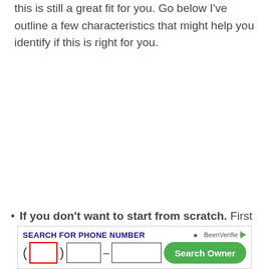this is still a great fit for you.  Go below I've outline a few characteristics that might help you identify if this is right for you.
If you don't want to start from scratch.  First off, if you don't want to start from scratch and just jump right
[Figure (screenshot): BeenVerified ad banner: 'SEARCH FOR PHONE NUMBER' with area code field (red border), middle field, dash, last field, and green 'Search Owner' button]